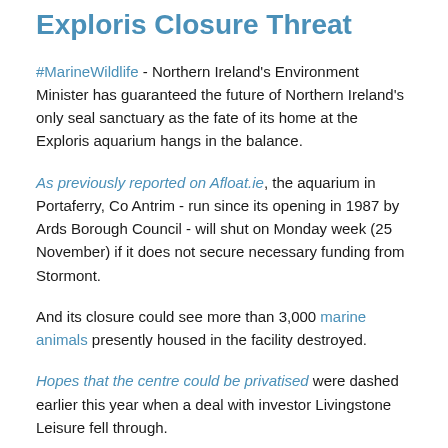Exploris Closure Threat
#MarineWildlife - Northern Ireland's Environment Minister has guaranteed the future of Northern Ireland's only seal sanctuary as the fate of its home at the Exploris aquarium hangs in the balance.
As previously reported on Afloat.ie, the aquarium in Portaferry, Co Antrim - run since its opening in 1987 by Ards Borough Council - will shut on Monday week (25 November) if it does not secure necessary funding from Stormont.
And its closure could see more than 3,000 marine animals presently housed in the facility destroyed.
Hopes that the centre could be privatised were dashed earlier this year when a deal with investor Livingstone Leisure fell through.
Ards Borough Council say they can no longer afford the